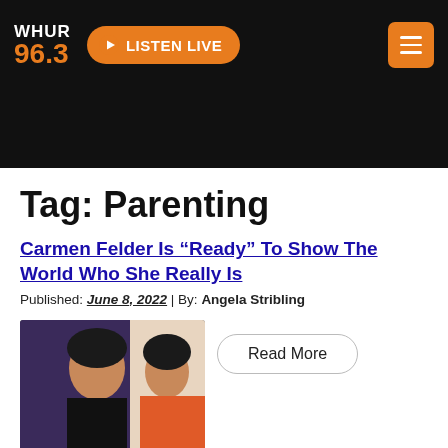WHUR 96.3 | LISTEN LIVE
Tag: Parenting
Carmen Felder Is “Ready” To Show The World Who She Really Is
Published: June 8, 2022 | By: Angela Stribling
[Figure (photo): Thumbnail photo of Carmen Felder]
Read More